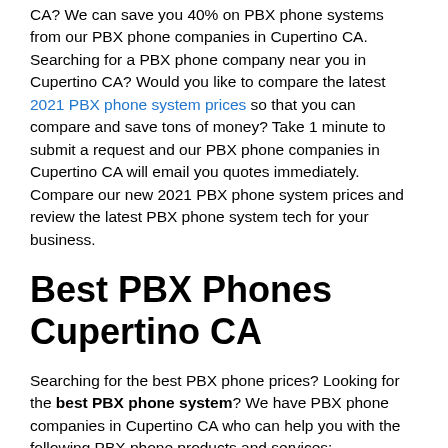CA? We can save you 40% on PBX phone systems from our PBX phone companies in Cupertino CA. Searching for a PBX phone company near you in Cupertino CA? Would you like to compare the latest 2021 PBX phone system prices so that you can compare and save tons of money? Take 1 minute to submit a request and our PBX phone companies in Cupertino CA will email you quotes immediately. Compare our new 2021 PBX phone system prices and review the latest PBX phone system tech for your business.
Best PBX Phones Cupertino CA
Searching for the best PBX phone prices? Looking for the best PBX phone system? We have PBX phone companies in Cupertino CA who can help you with the following PBX phone products and services: